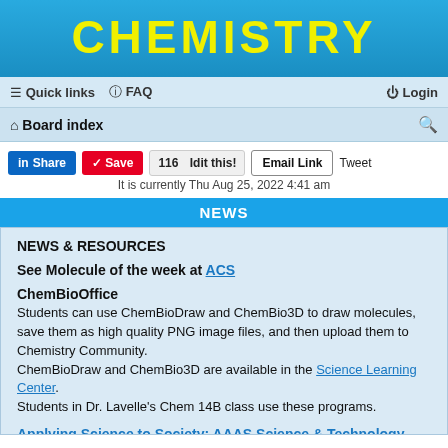CHEMISTRY
≡ Quick links  ⓘ FAQ    Login
⌂ Board index
Share  Save  116  Idit this!  Email Link  Tweet
It is currently Thu Aug 25, 2022 4:41 am
NEWS
NEWS & RESOURCES
See Molecule of the week at ACS
ChemBioOffice
Students can use ChemBioDraw and ChemBio3D to draw molecules, save them as high quality PNG image files, and then upload them to Chemistry Community.
ChemBioDraw and ChemBio3D are available in the Science Learning Center.
Students in Dr. Lavelle's Chem 14B class use these programs.
Applying Science to Society: AAAS Science & Technology Policy Fellowships